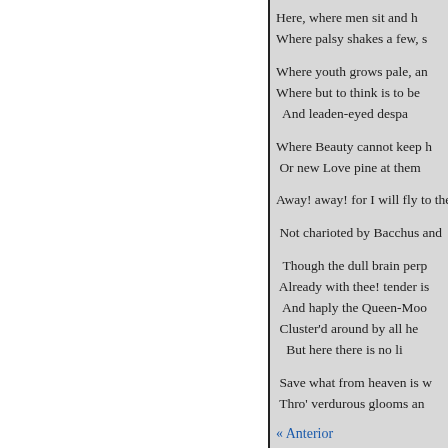Here, where men sit and h
Where palsy shakes a few, s

Where youth grows pale, an
Where but to think is to be
And leaden-eyed despa

Where Beauty cannot keep h
Or new Love pine at them

Away! away! for I will fly to the

Not charioted by Bacchus and

Though the dull brain perp
Already with thee! tender is
And haply the Queen-Moo
Cluster'd around by all he
But here there is no li

Save what from heaven is w
Thro' verdurous glooms an
« Anterior